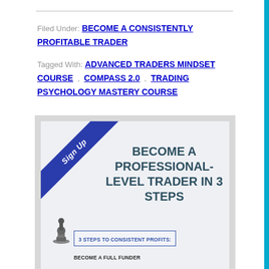Filed Under: BECOME A CONSISTENTLY PROFITABLE TRADER
Tagged With: ADVANCED TRADERS MINDSET COURSE , COMPASS 2.0 , TRADING PSYCHOLOGY MASTERY COURSE
[Figure (illustration): Promotional banner with blue ribbon 'Sign Up' corner and text 'BECOME A PROFESSIONAL-LEVEL TRADER IN 3 STEPS' with a chess piece icon and sub-banner '3 STEPS TO CONSISTENT PROFITS: BECOME A FULL FUNDER']